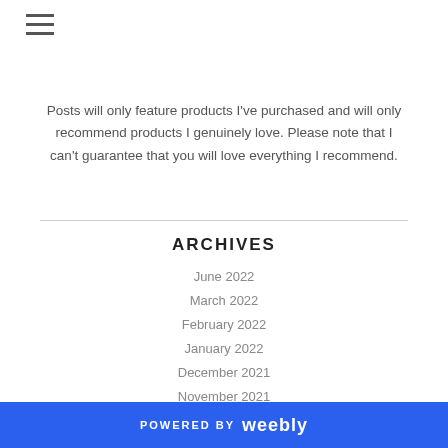[Figure (other): Hamburger menu icon (three horizontal lines)]
Posts will only feature products I've purchased and will only recommend products I genuinely love. Please note that I can't guarantee that you will love everything I recommend.
ARCHIVES
June 2022
March 2022
February 2022
January 2022
December 2021
November 2021
October 2021
September 2021
POWERED BY weebly